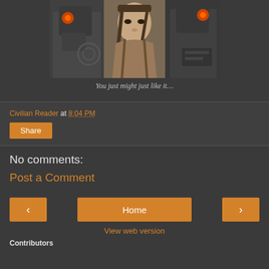[Figure (illustration): Comic book illustration showing a woman with braided hair in the center, flanked by armored/robotic figures on both sides, dark tones]
You just might just like it…
Civilian Reader at 8:04 PM
Share
No comments:
Post a Comment
‹  Home  ›
View web version
Contributors